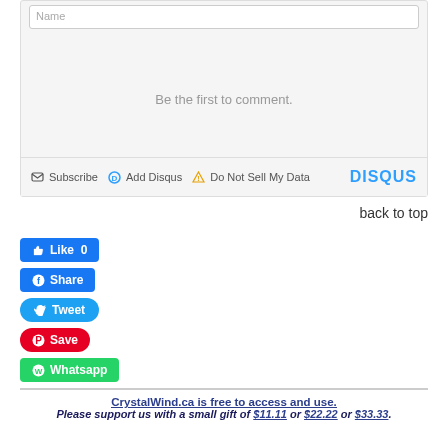[Figure (screenshot): Disqus comment box with 'Name' input at top, 'Be the first to comment.' placeholder text, and footer bar with Subscribe, Add Disqus, Do Not Sell My Data links and DISQUS logo]
back to top
[Figure (screenshot): Social media buttons: Like 0 (blue), Share (blue Facebook), Tweet (blue Twitter), Save (red Pinterest), Whatsapp (green)]
CrystalWind.ca is free to access and use. Please support us with a small gift of $11.11 or $22.22 or $33.33.